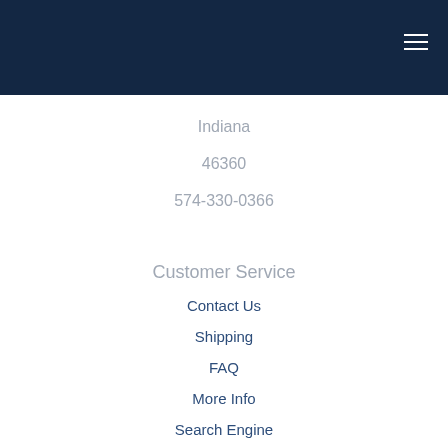Indiana
46360
574-330-0366
Customer Service
Contact Us
Shipping
FAQ
More Info
Search Engine
Privacy Policy